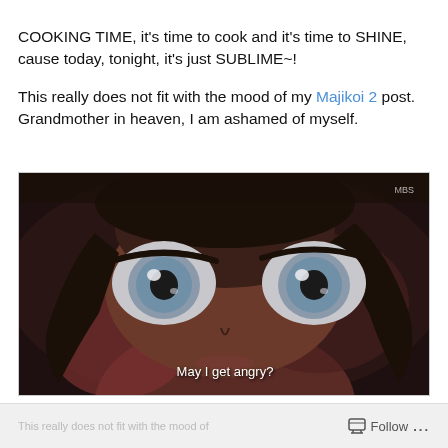COOKING TIME, it's time to cook and it's time to SHINE, cause today, tonight, it's just SUBLIME~!

This really does not fit with the mood of my Majikoi 2 post. Grandmother in heaven, I am ashamed of myself.
[Figure (photo): Close-up anime screenshot of a character's face with wide grey eyes looking upward. The face fills most of the frame against a dark reddish-brown background. White subtitle text at the bottom reads 'May I get angry?' A small watermark 'MBS' appears in the top right corner.]
Follow ...